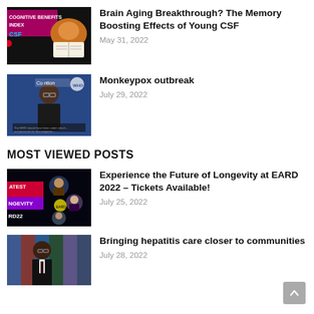[Figure (photo): Thumbnail image: hamster reading a book with text overlay 'COGNITIVE BENEFITS']
Brain Aging Breakthrough? The Memory Boosting Effects of Young CSF
May 31, 2022
[Figure (photo): Thumbnail image: WHO official speaking at podium, Monkeypox conference]
Monkeypox outbreak
July 29, 2022
MOST VIEWED POSTS
[Figure (photo): Thumbnail image: EARD 2022 longevity event promotional graphic with speakers]
Experience the Future of Longevity at EARD 2022 – Tickets Available!
July 25, 2022
[Figure (photo): Thumbnail image: WHO official speaking, hepatitis care]
Bringing hepatitis care closer to communities
July 28, 2022